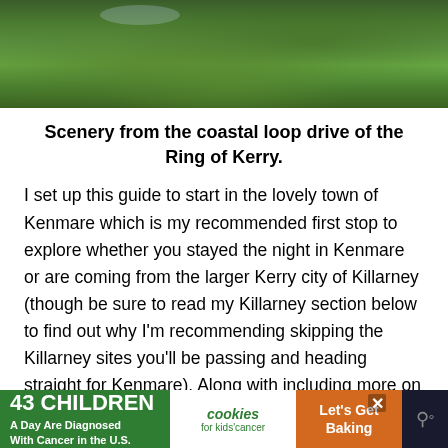[Figure (photo): Lush green vegetation and trees from the coastal scenery of the Ring of Kerry, Ireland.]
Scenery from the coastal loop drive of the Ring of Kerry.
I set up this guide to start in the lovely town of Kenmare which is my recommended first stop to explore whether you stayed the night in Kenmare or are coming from the larger Kerry city of Killarney (though be sure to read my Killarney section below to find out why I’m recommending skipping the Killarney sites you’ll be passing and heading straight for Kenmare). Along with including more on Killarney later in this guide, I’ll also be sharing my re… …ng th…
[Figure (infographic): Advertisement banner: '43 CHILDREN A Day Are Diagnosed With Cancer in the U.S.' with cookies for kids cancer logo and 'Let’s Get Baking' call to action.]